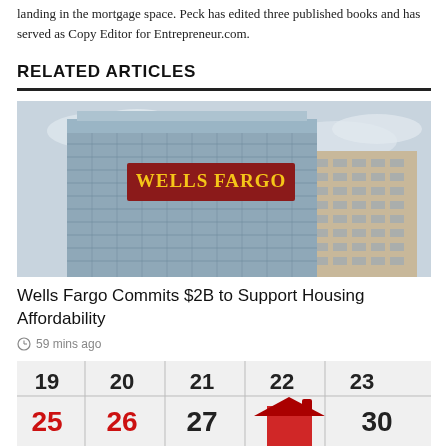landing in the mortgage space. Peck has edited three published books and has served as Copy Editor for Entrepreneur.com.
RELATED ARTICLES
[Figure (photo): Wells Fargo office building with gold lettering on the facade, glass curtain wall exterior, light overcast sky]
Wells Fargo Commits $2B to Support Housing Affordability
59 mins ago
[Figure (photo): Calendar page showing dates 19-23 on top row and 25-30 on bottom row with red dates 25 and 26, and a red miniature house placed on the calendar]